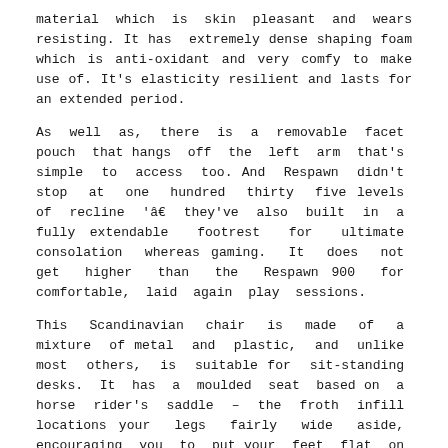material which is skin pleasant and wears resisting. It has extremely dense shaping foam which is anti-oxidant and very comfy to make use of. It's elasticity resilient and lasts for an extended period.
As well as, there is a removable facet pouch that hangs off the left arm that's simple to access too. And Respawn didn't stop at one hundred thirty five levels of recline 'â€​ they've also built in a fully extendable footrest for ultimate consolation whereas gaming. It does not get higher than the Respawn 900 for comfortable, laid again play sessions.
This Scandinavian chair is made of a mixture of metal and plastic, and unlike most others, is suitable for sit-standing desks. It has a moulded seat based on a horse rider's saddle – the froth infill locations your legs fairly wide aside, encouraging you to put your feet flat on the floor. In the meantime, the adjustable seat is angled to fit with the natural curve of your lower back.